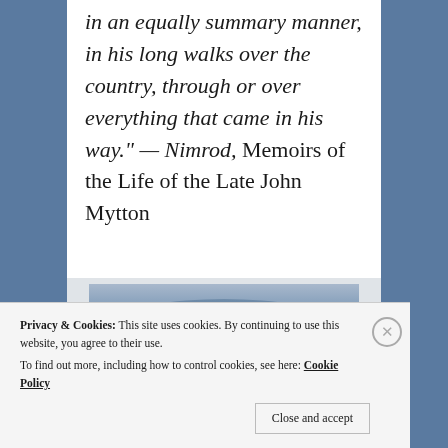in an equally summary manner, in his long walks over the country, through or over everything that came in his way." — Nimrod, Memoirs of the Life of the Late John Mytton
[Figure (photo): A landscape or nature photograph in bluish-grey tones, partially visible.]
Privacy & Cookies: This site uses cookies. By continuing to use this website, you agree to their use. To find out more, including how to control cookies, see here: Cookie Policy